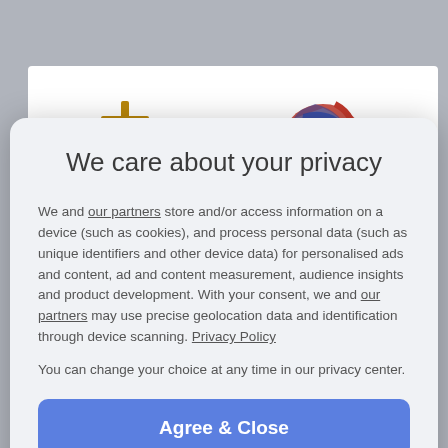UN Human Rights Chief Voices Concern Over...
[Figure (screenshot): Article thumbnail with Bitcoin and globe/eagle logo icons visible]
We care about your privacy
We and our partners store and/or access information on a device (such as cookies), and process personal data (such as unique identifiers and other device data) for personalised ads and content, ad and content measurement, audience insights and product development. With your consent, we and our partners may use precise geolocation data and identification through device scanning. Privacy Policy
You can change your choice at any time in our privacy center.
Agree & Close
Manage Options
Powered by clickio